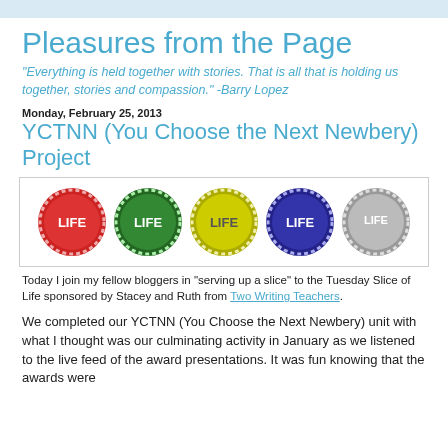Pleasures from the Page
"Everything is held together with stories. That is all that is holding us together, stories and compassion." -Barry Lopez
Monday, February 25, 2013
YCTNN (You Choose the Next Newbery) Project
[Figure (photo): Five circular badge/token images each labelled LIFE in different colors: red, green, yellow, blue, and silver/gray]
Today I join my fellow bloggers in "serving up a slice" to the Tuesday Slice of Life sponsored by Stacey and Ruth from Two Writing Teachers.
We completed our YCTNN (You Choose the Next Newbery) unit with what I thought was our culminating activity in January as we listened to the live feed of the award presentations. It was fun knowing that the awards were